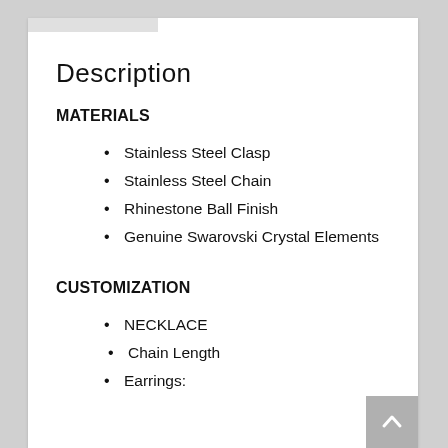Description
MATERIALS
Stainless Steel Clasp
Stainless Steel Chain
Rhinestone Ball Finish
Genuine Swarovski Crystal Elements
CUSTOMIZATION
NECKLACE
Chain Length
Earrings: